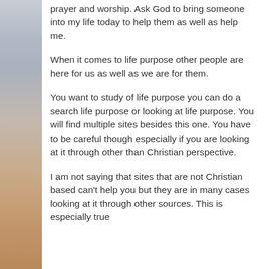prayer and worship. Ask God to bring someone into my life today to help them as well as help me.
When it comes to life purpose other people are here for us as well as we are for them.
You want to study of life purpose you can do a search life purpose or looking at life purpose. You will find multiple sites besides this one. You have to be careful though especially if you are looking at it through other than Christian perspective.
I am not saying that sites that are not Christian based can't help you but they are in many cases looking at it through other sources. This is especially true